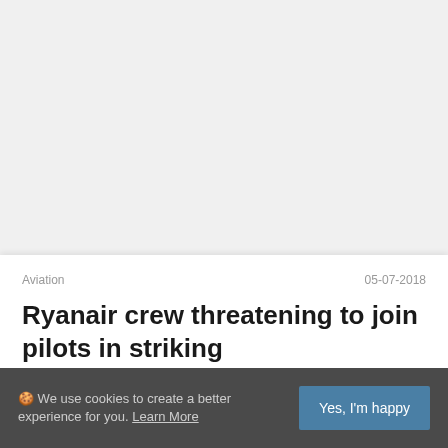[Figure (other): Gray placeholder area at top of page, likely an advertisement or image slot]
Aviation	05-07-2018
Ryanair crew threatening to join pilots in striking
🍪 We use cookies to create a better experience for you. Learn More
Yes, I'm happy